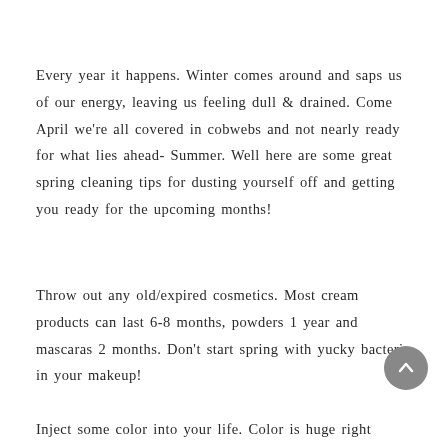Every year it happens. Winter comes around and saps us of our energy, leaving us feeling dull & drained. Come April we're all covered in cobwebs and not nearly ready for what lies ahead- Summer. Well here are some great spring cleaning tips for dusting yourself off and getting you ready for the upcoming months!
Throw out any old/expired cosmetics. Most cream products can last 6-8 months, powders 1 year and mascaras 2 months. Don't start spring with yucky bacteria in your makeup!
Inject some color into your life. Color is huge right